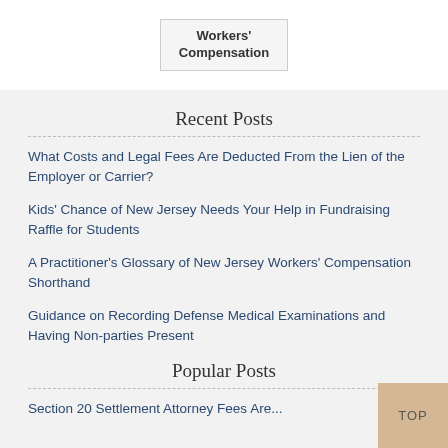[Figure (screenshot): Workers' Compensation button/label in a light gray box]
Recent Posts
What Costs and Legal Fees Are Deducted From the Lien of the Employer or Carrier?
Kids' Chance of New Jersey Needs Your Help in Fundraising Raffle for Students
A Practitioner's Glossary of New Jersey Workers' Compensation Shorthand
Guidance on Recording Defense Medical Examinations and Having Non-parties Present
Popular Posts
Section 20 Settlement Attorney Fees Are...